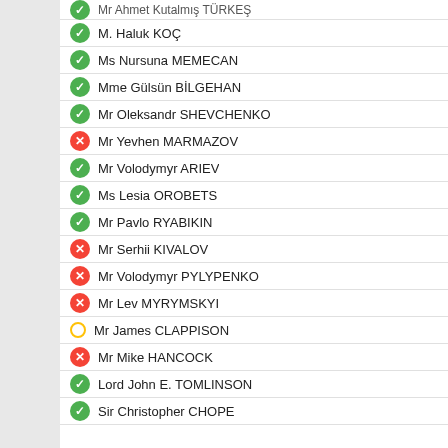Mr Ahmet Kutalmış TÜRKEŞ
M. Haluk KOÇ
Ms Nursuna MEMECAN
Mme Gülsün BİLGEHAN
Mr Oleksandr SHEVCHENKO
Mr Yevhen MARMAZOV
Mr Volodymyr ARIEV
Ms Lesia OROBETS
Mr Pavlo RYABIKIN
Mr Serhii KIVALOV
Mr Volodymyr PYLYPENKO
Mr Lev MYRYMSKYI
Mr James CLAPPISON
Mr Mike HANCOCK
Lord John E. TOMLINSON
Sir Christopher CHOPE